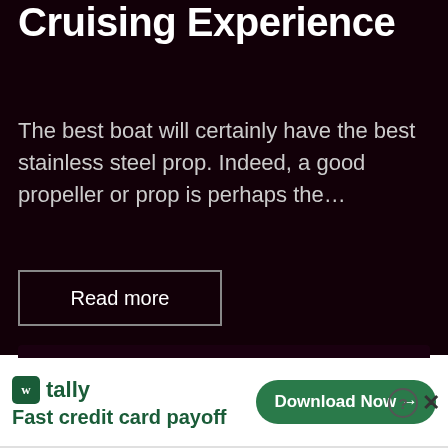Cruising Experience
The best boat will certainly have the best stainless steel prop. Indeed, a good propeller or prop is perhaps the...
Read more
[Figure (other): Dark rectangular card area with very dark maroon/black background]
[Figure (screenshot): Advertisement banner: Tally app logo and text 'Fast credit card payoff' on left, 'Download Now' green button on right, close and help buttons in top right corner]